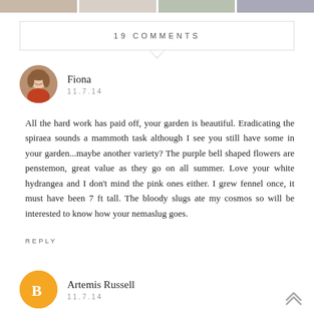[Figure (photo): Top strip showing four cropped photo thumbnails]
19 COMMENTS
Fiona
11.7.14
All the hard work has paid off, your garden is beautiful. Eradicating the spiraea sounds a mammoth task although I see you still have some in your garden...maybe another variety? The purple bell shaped flowers are penstemon, great value as they go on all summer. Love your white hydrangea and I don't mind the pink ones either. I grew fennel once, it must have been 7 ft tall. The bloody slugs ate my cosmos so will be interested to know how your nemaslug goes.
REPLY
Artemis Russell
11.7.14